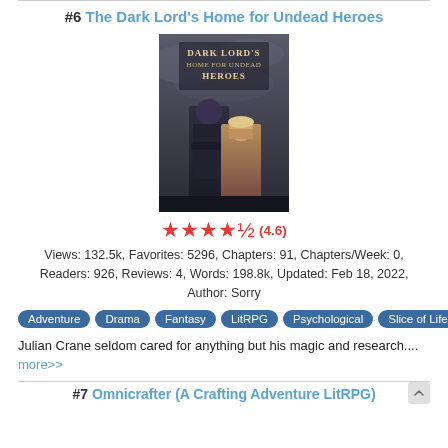#6 The Dark Lord's Home for Undead Heroes
[Figure (illustration): Book cover for 'Dark Lord's Home for Undead Heroes' showing two characters — a dark-clothed figure and a lighter-clothed figure — against a moody grey sky background, with stylized title text at the top.]
★★★★★ (4.6)
Views: 132.5k, Favorites: 5296, Chapters: 91, Chapters/Week: 0, Readers: 926, Reviews: 4, Words: 198.8k, Updated: Feb 18, 2022, Author: Sorry
Adventure
Drama
Fantasy
LitRPG
Psychological
Slice of Life
Julian Crane seldom cared for anything but his magic and research.... more>>
#7 Omnicrafter (A Crafting Adventure LitRPG)